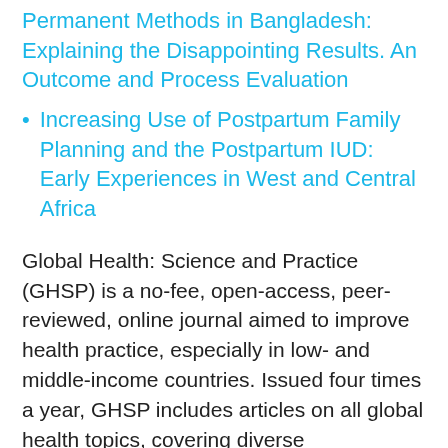Permanent Methods in Bangladesh: Explaining the Disappointing Results. An Outcome and Process Evaluation
Increasing Use of Postpartum Family Planning and the Postpartum IUD: Early Experiences in West and Central Africa
Global Health: Science and Practice (GHSP) is a no-fee, open-access, peer-reviewed, online journal aimed to improve health practice, especially in low- and middle-income countries. Issued four times a year, GHSP includes articles on all global health topics, covering diverse programming models and a wide range of cross-cutting issues that impact and support health systems. The journal is co-published by USAID and the Knowledge for Health Project, which is based at the Johns Hopkins Center for Communication Programs.